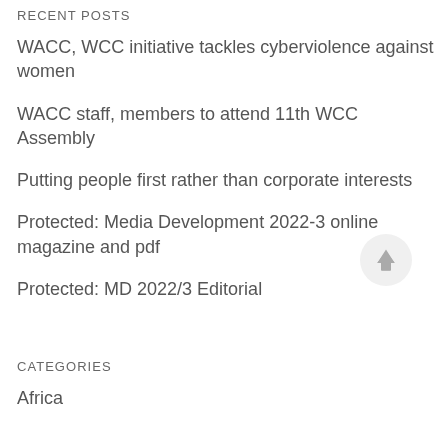RECENT POSTS
WACC, WCC initiative tackles cyberviolence against women
WACC staff, members to attend 11th WCC Assembly
Putting people first rather than corporate interests
Protected: Media Development 2022-3 online magazine and pdf
Protected: MD 2022/3 Editorial
[Figure (illustration): Scroll-to-top button: circular gray button with upward pointing arrow]
CATEGORIES
Africa